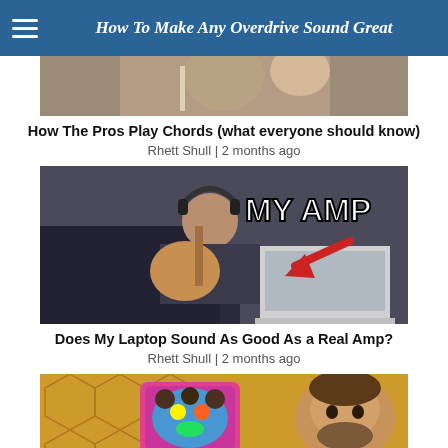How To Make Any Overdrive Sound Great
[Figure (screenshot): Thumbnail showing musicians playing guitar - partially cropped at top]
How The Pros Play Chords (what everyone should know)
Rhett Shull | 2 months ago
[Figure (screenshot): Person playing guitar with laptop, text overlay 'MY AMP' with red arrow]
Does My Laptop Sound As Good As a Real Amp?
Rhett Shull | 2 months ago
[Figure (screenshot): Person holding a colorful guitar pedal with honeycomb background]